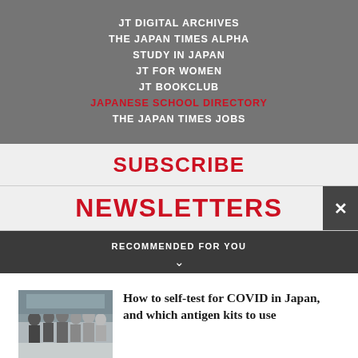JT DIGITAL ARCHIVES
THE JAPAN TIMES ALPHA
STUDY IN JAPAN
JT FOR WOMEN
JT BOOKCLUB
JAPANESE SCHOOL DIRECTORY
THE JAPAN TIMES JOBS
SUBSCRIBE
NEWSLETTERS
RECOMMENDED FOR YOU
How to self-test for COVID in Japan, and which antigen kits to use
[Figure (photo): People standing in a queue, likely at a COVID testing site in Japan]